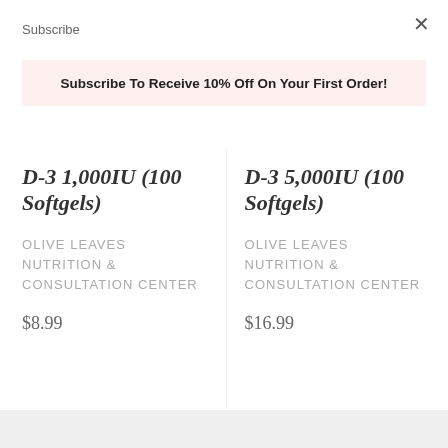Subscribe
×
Subscribe To Receive 10% Off On Your First Order!
D-3 1,000IU (100 Softgels)
OLIVE LEAVES NUTRITION & CONSULTATION CENTER
$8.99
D-3 5,000IU (100 Softgels)
OLIVE LEAVES NUTRITION & CONSULTATION CENTER
$16.99